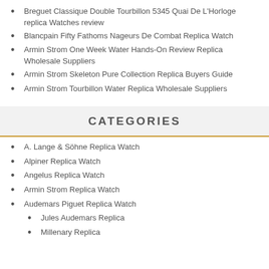Breguet Classique Double Tourbillon 5345 Quai De L'Horloge replica Watches review
Blancpain Fifty Fathoms Nageurs De Combat Replica Watch
Armin Strom One Week Water Hands-On Review Replica Wholesale Suppliers
Armin Strom Skeleton Pure Collection Replica Buyers Guide
Armin Strom Tourbillon Water Replica Wholesale Suppliers
CATEGORIES
A. Lange & Söhne Replica Watch
Alpiner Replica Watch
Angelus Replica Watch
Armin Strom Replica Watch
Audemars Piguet Replica Watch
Jules Audemars Replica
Millenary Replica